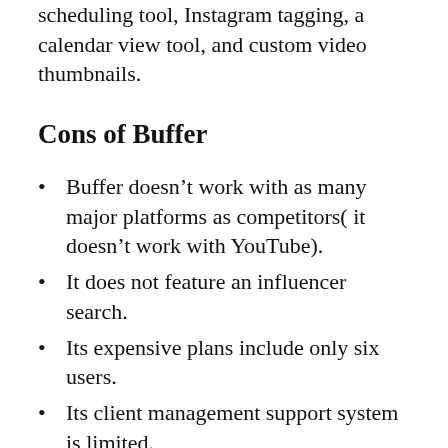scheduling tool, Instagram tagging, a calendar view tool, and custom video thumbnails.
Cons of Buffer
Buffer doesn’t work with as many major platforms as competitors( it doesn’t work with YouTube).
It does not feature an influencer search.
Its expensive plans include only six users.
Its client management support system is limited.